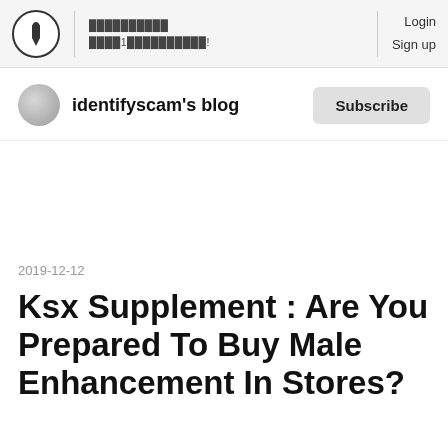Login
Sign up
identifyscam's blog
Subscribe
2019-12-12
Ksx Supplement : Are You Prepared To Buy Male Enhancement In Stores?